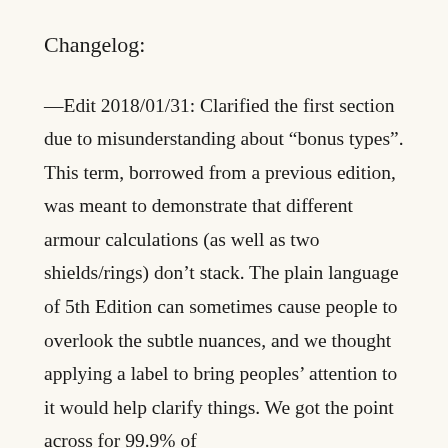Changelog:
—Edit 2018/01/31: Clarified the first section due to misunderstanding about “bonus types”. This term, borrowed from a previous edition, was meant to demonstrate that different armour calculations (as well as two shields/rings) don’t stack. The plain language of 5th Edition can sometimes cause people to overlook the subtle nuances, and we thought applying a label to bring peoples’ attention to it would help clarify things. We got the point across for 99.9% of